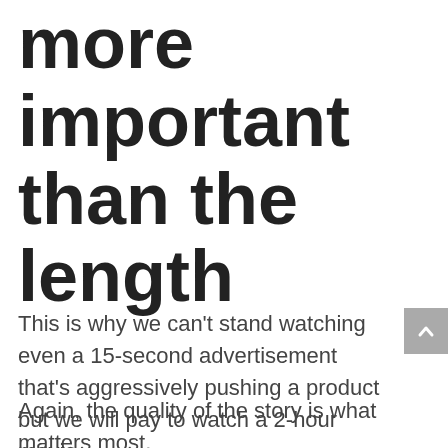more important than the length
This is why we can’t stand watching even a 15-second advertisement that’s aggressively pushing a product but we will pay to watch a 2-hour movie.
Again, the quality of the story is what matters most.